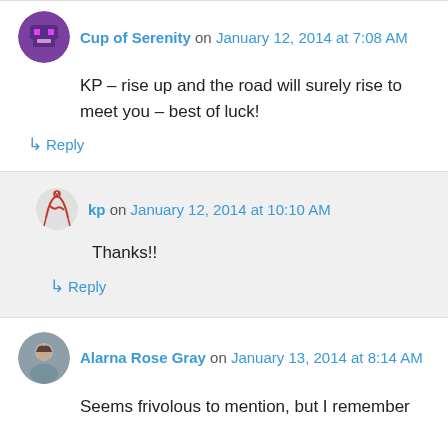Cup of Serenity on January 12, 2014 at 7:08 AM
KP – rise up and the road will surely rise to meet you – best of luck!
↳ Reply
kp on January 12, 2014 at 10:10 AM
Thanks!!
↳ Reply
Alarna Rose Gray on January 13, 2014 at 8:14 AM
Seems frivolous to mention, but I remember